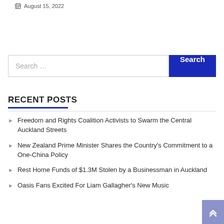August 15, 2022
Search …
RECENT POSTS
Freedom and Rights Coalition Activists to Swarm the Central Auckland Streets
New Zealand Prime Minister Shares the Country's Commitment to a One-China Policy
Rest Home Funds of $1.3M Stolen by a Businessman in Auckland
Oasis Fans Excited For Liam Gallagher's New Music